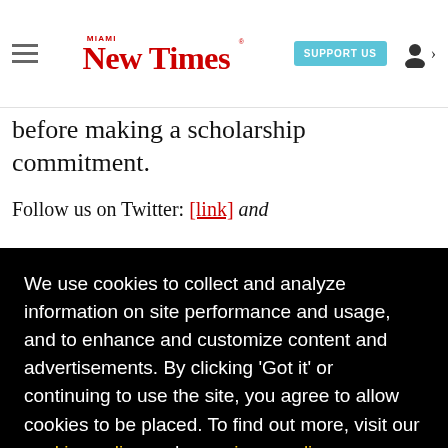Miami New Times — SUPPORT US
before making a scholarship commitment.
Follow us on Twitter: [link] and
every ts
nd
[Figure (screenshot): Cookie consent overlay on black background with yellow 'Got it!' button. Text: 'We use cookies to collect and analyze information on site performance and usage, and to enhance and customize content and advertisements. By clicking 'Got it' or continuing to use the site, you agree to allow cookies to be placed. To find out more, visit our cookies policy and our privacy policy.']
ed
Miami New Times, it has been defined as the free.